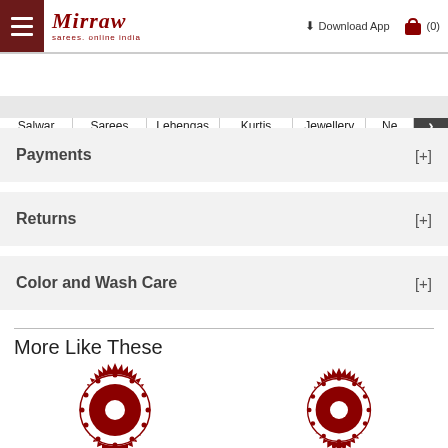Mirraw - sarees, online india | Download App | (0)
Salwar | Sarees | Lehengas | Kurtis | Jewellery | Ne >
Payments [+]
Returns [+]
Color and Wash Care [+]
More Like These
[Figure (illustration): Two decorative red mandala/rosette circular ornament designs side by side]